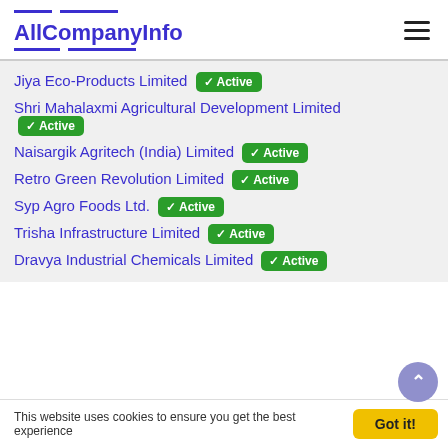AllCompanyInfo
Jiya Eco-Products Limited Active
Shri Mahalaxmi Agricultural Development Limited Active
Naisargik Agritech (India) Limited Active
Retro Green Revolution Limited Active
Syp Agro Foods Ltd. Active
Trisha Infrastructure Limited Active
Dravya Industrial Chemicals Limited Active
This website uses cookies to ensure you get the best experience  Got it!